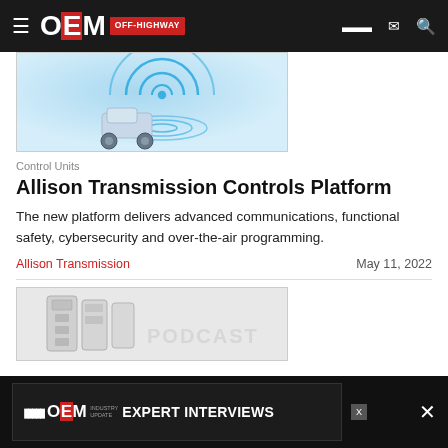OEM OFF-HIGHWAY
[Figure (photo): Article thumbnail showing a robotic vehicle with WiFi/wireless connectivity signals illustrated in blue on a light blue background]
Control Units
Allison Transmission Controls Platform
The new platform delivers advanced communications, functional safety, cybersecurity and over-the-air programming.
Allison Transmission   May 11, 2022
[Figure (photo): Article thumbnail showing electrical control units or circuit breakers in black and white]
[Figure (other): OEM Off-Highway Industry Update Expert Interviews podcast advertisement banner]